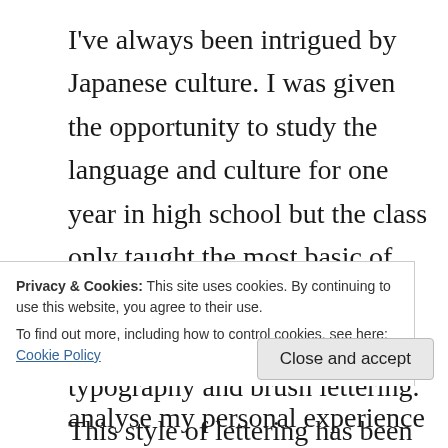I've always been intrigued by Japanese culture. I was given the opportunity to study the language and culture for one year in high school but the class only taught the most basic of things. In the past year, I have also developed an interest in typography and brush lettering. This style of lettering has been developed from more traditional forms such as Japanese calligraphy, or Shodo. The research I have conducted surrounding Japanese calligraphy and how it works as an art form is a combination of
Privacy & Cookies: This site uses cookies. By continuing to use this website, you agree to their use.
To find out more, including how to control cookies, see here: Cookie Policy
analyse my personal experience as a way of